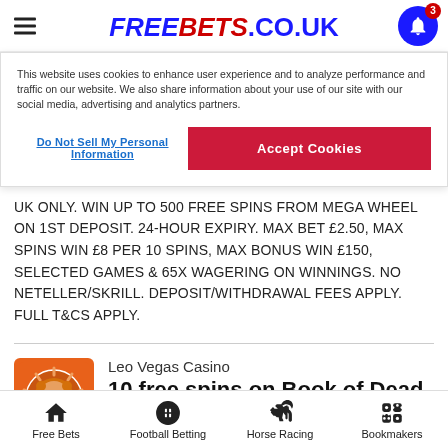FREEBETS.CO.UK
This website uses cookies to enhance user experience and to analyze performance and traffic on our website. We also share information about your use of our site with our social media, advertising and analytics partners.
Do Not Sell My Personal Information
Accept Cookies
UK ONLY. WIN UP TO 500 FREE SPINS FROM MEGA WHEEL ON 1ST DEPOSIT. 24-HOUR EXPIRY. MAX BET £2.50, MAX SPINS WIN £8 PER 10 SPINS, MAX BONUS WIN £150, SELECTED GAMES & 65X WAGERING ON WINNINGS. NO NETELLER/SKRILL. DEPOSIT/WITHDRAWAL FEES APPLY. FULL T&CS APPLY.
Leo Vegas Casino
10 free spins on Book of Dead - no deposit required
Free Bets  Football Betting  Horse Racing  Bookmakers